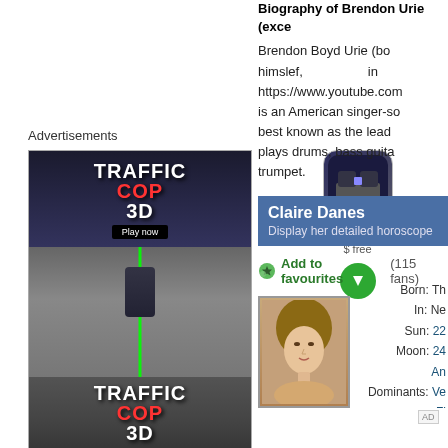Advertisements
[Figure (screenshot): Traffic Cop 3D game advertisement banner with dark road background and green road lines, showing 'Play now' button]
[Figure (screenshot): Traffic Cop 3D app icon - police car on dark background, rounded square, app store style]
Traffic Cop 3D
$ free
[Figure (other): Green circular download button with down arrow]
AD
Biography of Brendon Urie (exce...
Brendon Boyd Urie (bo... himslef, in... https://www.youtube.com... is an American singer-so... best known as the lead... plays drums, bass guita... trumpet.
Claire Danes
Display her detailed horoscope...
Add to favourites (115 fans)
[Figure (photo): Photo of Claire Danes - woman with blonde/brown hair]
Born: Th... In: Ne... Sun: 22... Moon: 24... An... Dominants: Ve... Fi... Chinese Astrology: Ea...